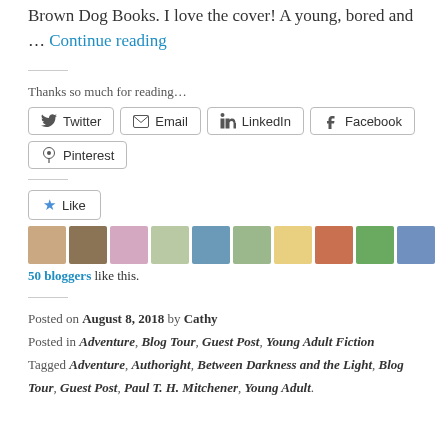Adventure published on the 5th March 2018 by Brown Dog Books. I love the cover! A young, bored and … Continue reading
Thanks so much for reading…
[Figure (infographic): Social share buttons: Twitter, Email, LinkedIn, Facebook, Pinterest]
[Figure (infographic): Like button with star icon and 10 blogger avatars. 50 bloggers like this.]
Posted on August 8, 2018 by Cathy
Posted in Adventure, Blog Tour, Guest Post, Young Adult Fiction
Tagged Adventure, Authoright, Between Darkness and the Light, Blog Tour, Guest Post, Paul T. H. Mitchener, Young Adult.